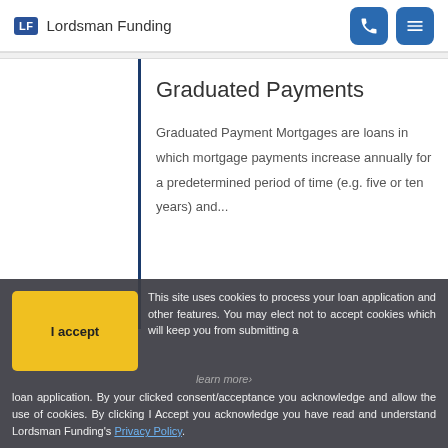LF Lordsman Funding
Graduated Payments
Graduated Payment Mortgages are loans in which mortgage payments increase annually for a predetermined period of time (e.g. five or ten years) and...
I accept — This site uses cookies to process your loan application and other features. You may elect not to accept cookies which will keep you from submitting a loan application. By your clicked consent/acceptance you acknowledge and allow the use of cookies. By clicking I Accept you acknowledge you have read and understand Lordsman Funding's Privacy Policy.
Loan Program Options